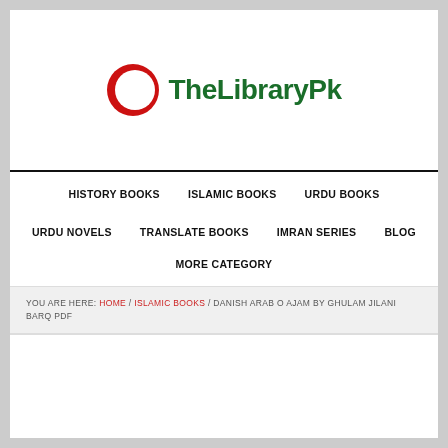[Figure (logo): TheLibraryPk logo with red crescent/book icon and dark green bold text]
HISTORY BOOKS   ISLAMIC BOOKS   URDU BOOKS   URDU NOVELS   TRANSLATE BOOKS   IMRAN SERIES   BLOG   MORE CATEGORY
YOU ARE HERE: HOME / ISLAMIC BOOKS / DANISH ARAB O AJAM BY GHULAM JILANI BARQ PDF